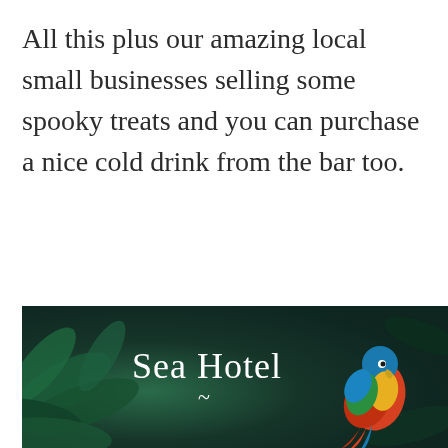All this plus our amazing local small businesses selling some spooky treats and you can purchase a nice cold drink from the bar too.
Ticketed event available at
www.lunaco.uk
[Figure (illustration): Sea Hotel advertisement banner with dark teal background featuring tropical leaves, white 'Sea Hotel' text with a tilde decoration below, and a colorful parrot illustration on the right side.]